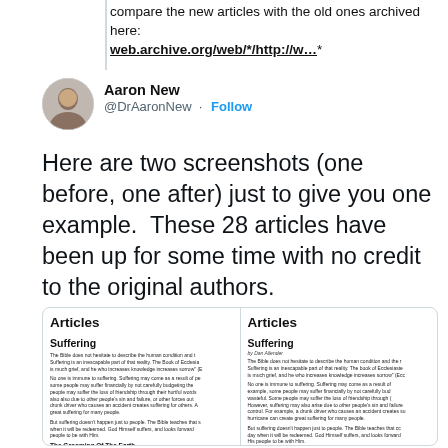compare the new articles with the old ones archived here: web.archive.org/web/*/http://w…*
[Figure (screenshot): Twitter profile with avatar photo of Aaron New]
Aaron New @DrAaronNew · Follow
Here are two screenshots (one before, one after) just to give you one example.  These 28 articles have been up for some time with no credit to the original authors.
[Figure (screenshot): Two side-by-side screenshots of an 'Articles' page showing 'Suffering' article text, comparing before and after versions. Left panel shows article without author credit, right panel shows article with 'by Dan Allender' byline. Both panels show the beginning of the Suffering article text and end with 'The Grooming Of The Earth' heading.]